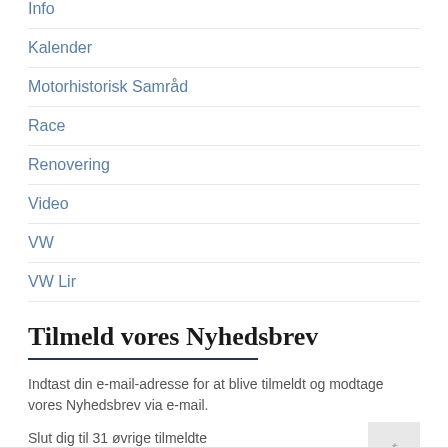Info
Kalender
Motorhistorisk Samråd
Race
Renovering
Video
VW
VW Lir
Tilmeld vores Nyhedsbrev
Indtast din e-mail-adresse for at blive tilmeldt og modtage vores Nyhedsbrev via e-mail.
Slut dig til 31 øvrige tilmeldte